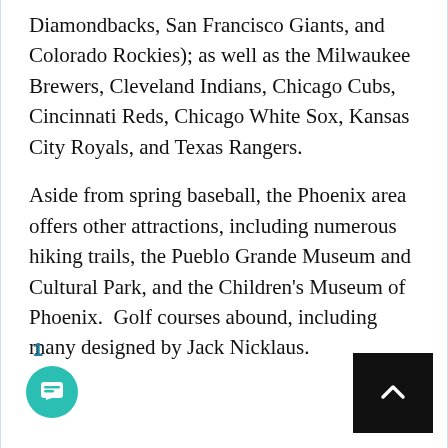Diamondbacks, San Francisco Giants, and Colorado Rockies); as well as the Milwaukee Brewers, Cleveland Indians, Chicago Cubs, Cincinnati Reds, Chicago White Sox, Kansas City Royals, and Texas Rangers.
Aside from spring baseball, the Phoenix area offers other attractions, including numerous hiking trails, the Pueblo Grande Museum and Cultural Park, and the Children's Museum of Phoenix.  Golf courses abound, including many designed by Jack Nicklaus.
1